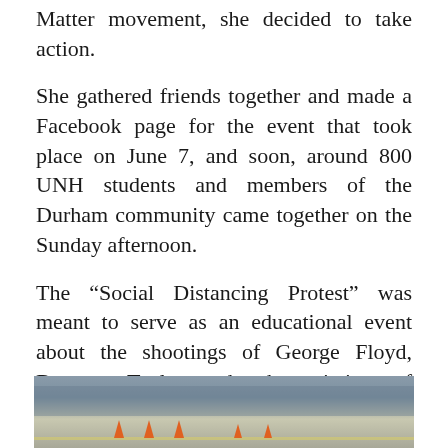Matter movement, she decided to take action.
She gathered friends together and made a Facebook page for the event that took place on June 7, and soon, around 800 UNH students and members of the Durham community came together on the Sunday afternoon.
The “Social Distancing Protest” was meant to serve as an educational event about the shootings of George Floyd, Breonna Taylor and other victims of police brutality, according to Brechbuhl. She wanted the UNH community together in solidarity. As soon as UNH police found out about the event, they offered to donate bottled water and facial covering masks, she said.
[Figure (photo): Outdoor photo showing a road or parking area with orange traffic cones, structures in background, overcast sky.]